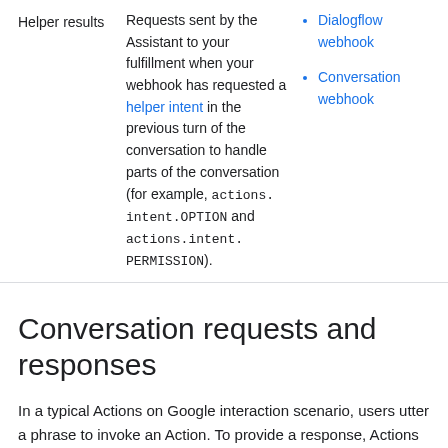|  | Description | Links |
| --- | --- | --- |
| Helper results | Requests sent by the Assistant to your fulfillment when your webhook has requested a helper intent in the previous turn of the conversation to handle parts of the conversation (for example, actions.intent.OPTION and actions.intent.PERMISSION). | Dialogflow webhook
Conversation webhook |
Conversation requests and responses
In a typical Actions on Google interaction scenario, users utter a phrase to invoke an Action. To provide a response, Actions on Google finds the fulfillment that matches the